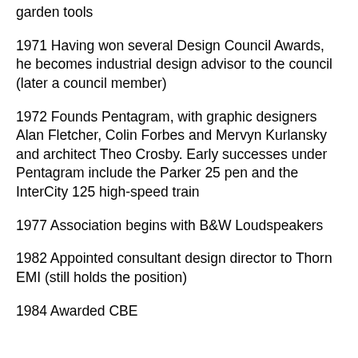garden tools
1971 Having won several Design Council Awards, he becomes industrial design advisor to the council (later a council member)
1972 Founds Pentagram, with graphic designers Alan Fletcher, Colin Forbes and Mervyn Kurlansky and architect Theo Crosby. Early successes under Pentagram include the Parker 25 pen and the InterCity 125 high-speed train
1977 Association begins with B&W Loudspeakers
1982 Appointed consultant design director to Thorn EMI (still holds the position)
1984 Awarded CBE